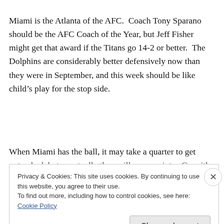Miami is the Atlanta of the AFC.  Coach Tony Sparano should be the AFC Coach of the Year, but Jeff Fisher might get that award if the Titans go 14-2 or better.  The Dolphins are considerably better defensively now than they were in September, and this week should be like child's play for the stop side.
When Miami has the ball, it may take a quarter to get untracked, but eventually they will score points.  Go with
Privacy & Cookies: This site uses cookies. By continuing to use this website, you agree to their use.
To find out more, including how to control cookies, see here: Cookie Policy